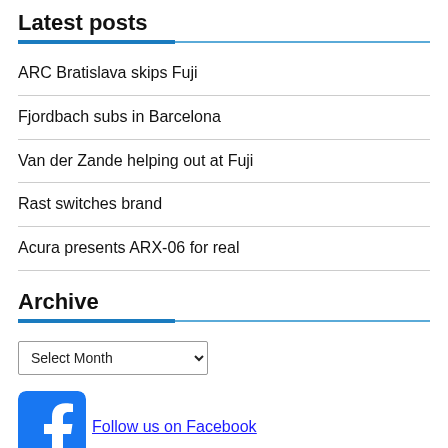Latest posts
ARC Bratislava skips Fuji
Fjordbach subs in Barcelona
Van der Zande helping out at Fuji
Rast switches brand
Acura presents ARX-06 for real
Archive
Select Month
[Figure (logo): Facebook logo icon — blue square with white f letter]
Follow us on Facebook